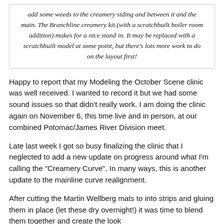add some weeds to the creamery siding and between it and the main. The Branchline creamery kit (with a scratchbuilt boiler room addition) makes for a nice stand in. It may be replaced with a scratchbuilt model at some point, but there's lots more work to do on the layout first!
Happy to report that my Modeling the October Scene clinic was well received. I wanted to record it but we had some sound issues so that didn't really work. I am doing the clinic again on November 6, this time live and in person, at our combined Potomac/James River Division meet.
Late last week I got so busy finalizing the clinic that I neglected to add a new update on progress around what I'm calling the "Creamery Curve". In many ways, this is another update to the mainline curve realignment.
After cutting the Martin Wellberg mats to into strips and gluing them in place (let these dry overnight!) it was time to blend them together and create the look...